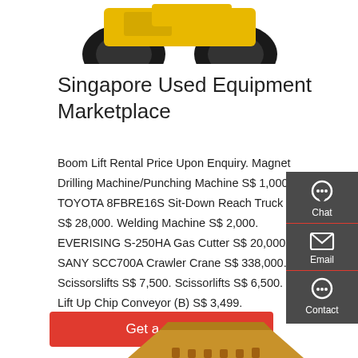[Figure (photo): Top portion of a yellow wheel loader/construction vehicle against white background, partially cropped at top of page.]
Singapore Used Equipment Marketplace
Boom Lift Rental Price Upon Enquiry. Magnet Drilling Machine/Punching Machine S$ 1,000. TOYOTA 8FBRE16S Sit-Down Reach Truck S$ 28,000. Welding Machine S$ 2,000. EVERISING S-250HA Gas Cutter S$ 20,000. SANY SCC700A Crawler Crane S$ 338,000. Scissorslifts S$ 7,500. Scissorlifts S$ 6,500. Lift Up Chip Conveyor (B) S$ 3,499.
[Figure (screenshot): Dark grey sidebar with Chat, Email, and Contact icons/buttons]
[Figure (photo): Bottom portion of a yellow/tan excavator bucket attachment, partially cropped at bottom of page.]